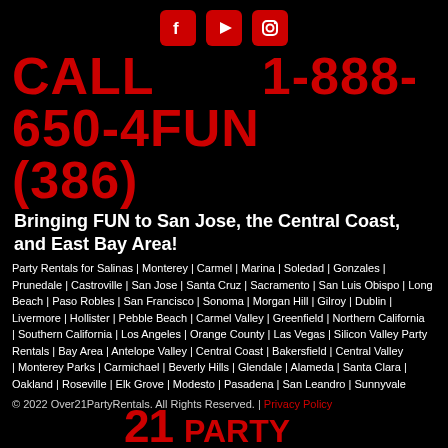[Figure (illustration): Three red social media icons: Facebook (f), YouTube (play button), Instagram (camera) arranged horizontally on black background]
CALL  1-888-650-4FUN (386)
Bringing FUN to San Jose, the Central Coast, and East Bay Area!
Party Rentals for Salinas | Monterey | Carmel | Marina | Soledad | Gonzales | Prunedale | Castroville | San Jose | Santa Cruz | Sacramento | San Luis Obispo | Long Beach | Paso Robles | San Francisco | Sonoma | Morgan Hill | Gilroy | Dublin | Livermore | Hollister | Pebble Beach | Carmel Valley | Greenfield | Northern California | Southern California | Los Angeles | Orange County | Las Vegas | Silicon Valley Party Rentals | Bay Area | Antelope Valley | Central Coast | Bakersfield | Central Valley | Monterey Parks | Carmichael | Beverly Hills | Glendale | Alameda | Santa Clara | Oakland | Roseville | Elk Grove | Modesto | Pasadena | San Leandro | Sunnyvale
© 2022 Over21PartyRentals. All Rights Reserved. | Privacy Policy
[Figure (logo): Over21 Party Rentals logo at bottom of page in red]